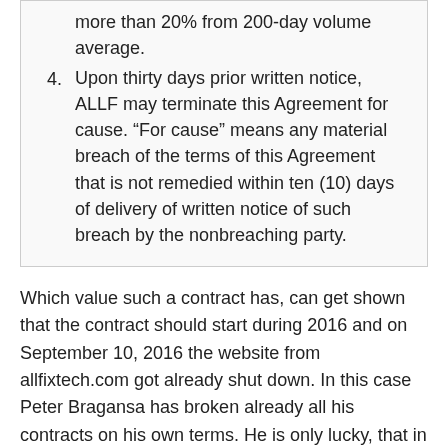more than 20% from 200-day volume average.
Upon thirty days prior written notice, ALLF may terminate this Agreement for cause. “For cause” means any material breach of the terms of this Agreement that is not remedied within ten (10) days of delivery of written notice of such breach by the nonbreaching party.
Which value such a contract has, can get shown that the contract should start during 2016 and on September 10, 2016 the website from allfixtech.com got already shut down. In this case Peter Bragansa has broken already all his contracts on his own terms. He is only lucky, that in the contract are no fines for breaking the terms specified.
Does Peter Bragansa not have any magic glass sphere, which he expect in point 3 that others have it? For me it looks